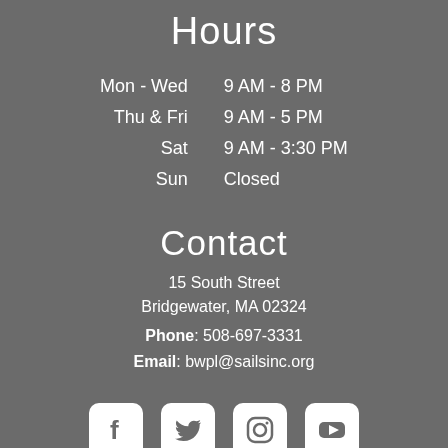Hours
| Mon - Wed | 9 AM - 8 PM |
| Thu & Fri | 9 AM - 5 PM |
| Sat | 9 AM - 3:30 PM |
| Sun | Closed |
Contact
15 South Street
Bridgewater, MA 02324
Phone: 508-697-3331
Email: bwpl@sailsinc.org
[Figure (infographic): Social media icons: Facebook, Twitter, Instagram, YouTube]